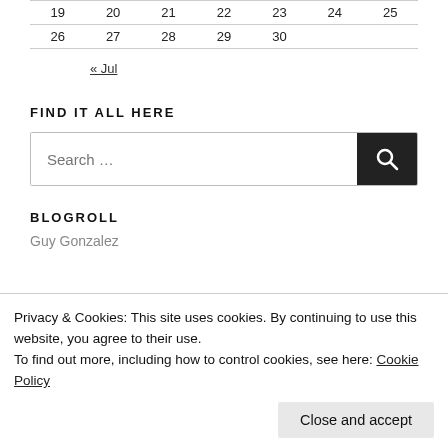| 19 | 20 | 21 | 22 | 23 | 24 | 25 |
| 26 | 27 | 28 | 29 | 30 |  |  |
« Jul
FIND IT ALL HERE
[Figure (other): Search input box with search button (magnifying glass icon)]
BLOGROLL
Privacy & Cookies: This site uses cookies. By continuing to use this website, you agree to their use.
To find out more, including how to control cookies, see here: Cookie Policy
Close and accept
Guy Gonzalez